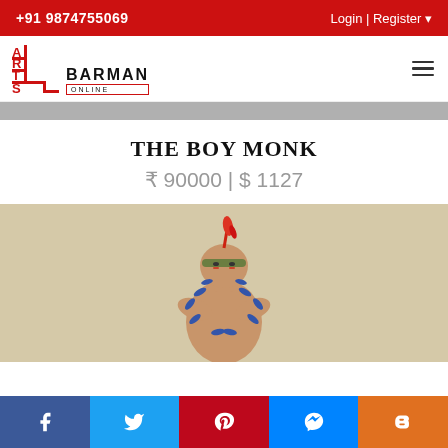+91 9874755069 | Login | Register
[Figure (logo): Arts Barman Online staircase logo with red and black lettering]
THE BOY MONK
₹ 90000 | $ 1127
[Figure (illustration): Painting of a boy monk figure with red feather headdress, blue leaf decorations across the body, standing pose against a tan/beige background]
Social share bar: Facebook, Twitter, Pinterest, Messenger, Blogger